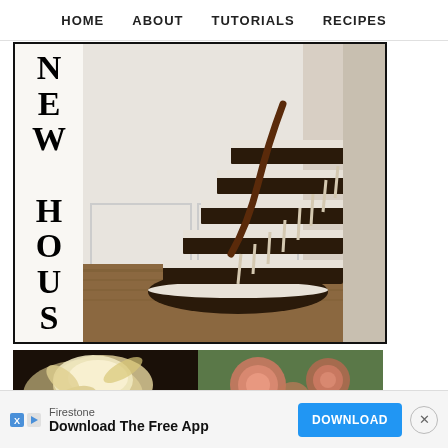HOME  ABOUT  TUTORIALS  RECIPES
[Figure (photo): Elegant curved staircase with dark wood treads and white risers with white balusters, dark wood handrail, white wainscoting paneling on the wall, and hardwood floor. Vertical text overlay reads NEW HOUSE.]
[Figure (photo): Two floral images side by side: left shows a close-up of a white/cream flower with dark background, right shows pink roses with a soft green background.]
Firestone
Download The Free App
DOWNLOAD